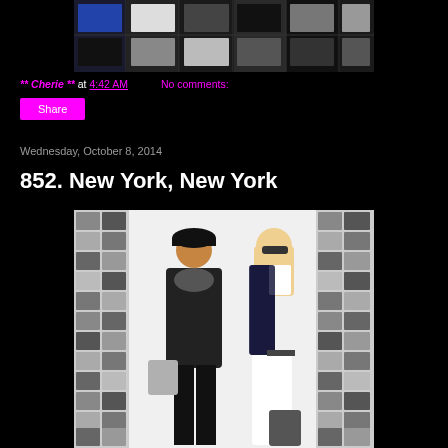[Figure (photo): Grid of fashion/t-shirt product images in a collage layout]
** Cherie ** at 4:42 AM    No comments:
Share
Wednesday, October 8, 2014
852. New York, New York
[Figure (photo): Two fashion avatars/illustrations standing in front of black and white photo wall background]